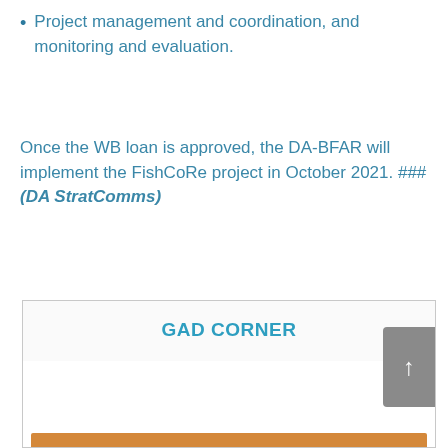Project management and coordination, and monitoring and evaluation.
Once the WB loan is approved, the DA-BFAR will implement the FishCoRe project in October 2021. ### (DA StratComms)
GAD CORNER